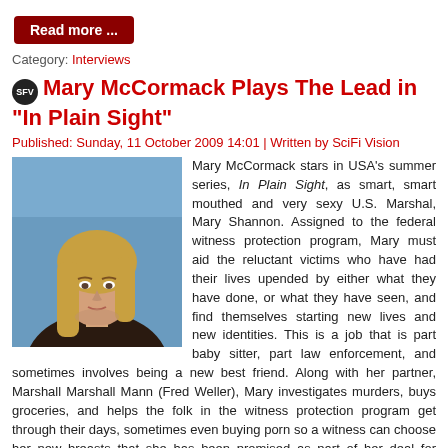Read more ...
Category: Interviews
Mary McCormack Plays The Lead in "In Plain Sight"
Published: Sunday, 11 October 2009 14:01 | Written by SciFi Vision
[Figure (photo): Photo of Mary McCormack, blonde woman looking to the side against a blue sky background]
Mary McCormack stars in USA's summer series, In Plain Sight, as smart, smart mouthed and very sexy U.S. Marshal, Mary Shannon.  Assigned to the federal witness protection program, Mary must aid the reluctant victims who have had their lives upended by either what they have done, or what they have seen, and find themselves starting new lives and new identities.  This is a job that is part baby sitter, part law enforcement, and sometimes involves being a new best friend.  Along with her partner, Marshall Marshall Mann (Fred Weller), Mary investigates murders, buys groceries, and helps the folk in the witness protection program get through their days, sometimes even buying porn so a witness can choose her new breasts that she has been promised as part of her deal for testifying against her former boss.
Read more ...
Category: Interviews